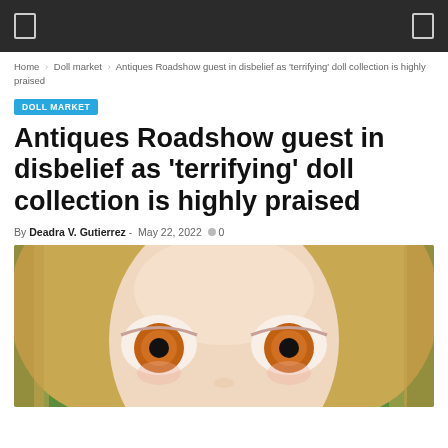Navigation bar with menu icons
Home | Doll market | Antiques Roadshow guest in disbelief as 'terrifying' doll collection is highly praised
DOLL MARKET
Antiques Roadshow guest in disbelief as 'terrifying' doll collection is highly praised
By Deadra V. Gutierrez - May 22, 2022   0
[Figure (photo): Close-up photograph of a doll's face with large orange eyes, blonde hair, against a green background]